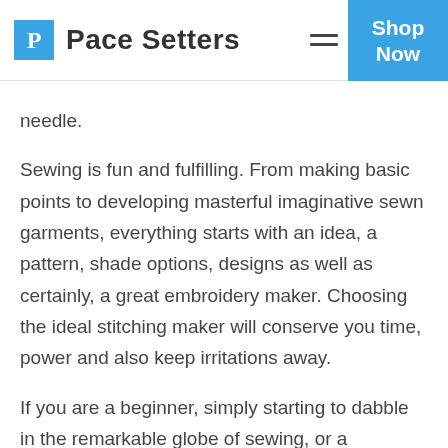Pace Setters | Shop Now
needle.
Sewing is fun and fulfilling. From making basic points to developing masterful imaginative sewn garments, everything starts with an idea, a pattern, shade options, designs as well as certainly, a great embroidery maker. Choosing the ideal stitching maker will conserve you time, power and also keep irritations away.
If you are a beginner, simply starting to dabble in the remarkable globe of sewing, or a